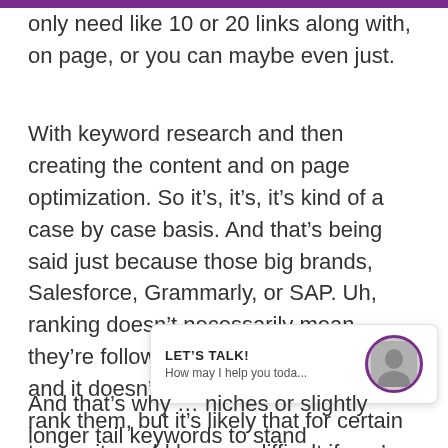only need like 10 or 20 links along with, on page, or you can maybe even just.
With keyword research and then creating the content and on page optimization. So it’s, it’s, it’s kind of a case by case basis. And that’s being said just because those big brands, Salesforce, Grammarly, or SAP. Uh, ranking doesn’t necessarily mean they’re following SEO best practices, and it doesn’t mean that you could not rank them, but it’s likely that for certain terms, it would be very difficult if you’re a new, a business to compete.
[Figure (other): Chat widget with text 'LET'S TALK! How may I help you toda...' and a circular avatar photo of a person]
And that’s why … niches or slightly longer tail keywords to stand